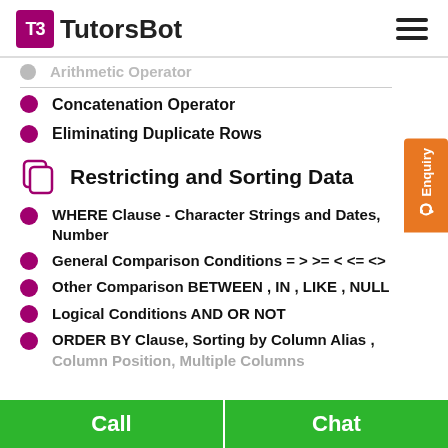TutorsBot
Arithmetic Operator (partially visible)
Concatenation Operator
Eliminating Duplicate Rows
Restricting and Sorting Data
WHERE Clause - Character Strings and Dates, Number
General Comparison Conditions = > >= < <= <>
Other Comparison BETWEEN , IN , LIKE , NULL
Logical Conditions AND OR NOT
ORDER BY Clause, Sorting by Column Alias , Column Position, Multiple Columns (partially visible)
Call | Chat